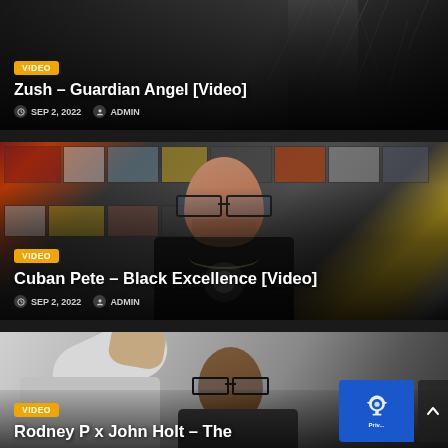[Figure (screenshot): Card 1: Dark background with shadowy human figure, showing music video blog post]
Zush – Guardian Angel [Video]
SEP 2, 2022   ADMIN
[Figure (photo): Card 2: A bald man with glasses wearing a black t-shirt with skull design, seated in front of wall of photos]
Cuban Pete – Black Excellence [Video]
SEP 2, 2022   ADMIN
[Figure (photo): Card 3: Two people, one person appears to be raised hand, another person wearing glasses, partially cut off]
Rodney P x John Holt – The